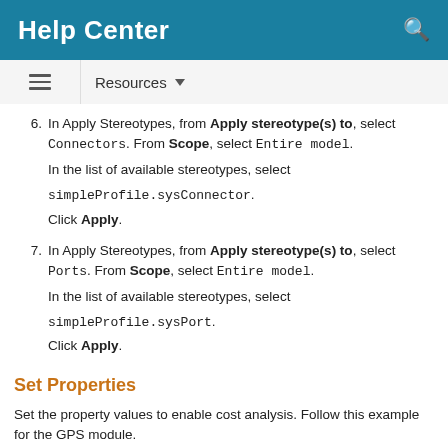Help Center
6. In Apply Stereotypes, from Apply stereotype(s) to, select Connectors. From Scope, select Entire model. In the list of available stereotypes, select simpleProfile.sysConnector. Click Apply.
7. In Apply Stereotypes, from Apply stereotype(s) to, select Ports. From Scope, select Entire model. In the list of available stereotypes, select simpleProfile.sysPort. Click Apply.
Set Properties
Set the property values to enable cost analysis. Follow this example for the GPS module.
1. In the Sensors component, select the GPS component.
2. Open the Property Inspector by navigating to Modeling >